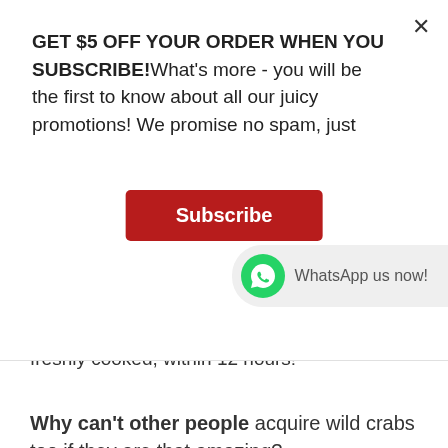GET $5 OFF YOUR ORDER WHEN YOU SUBSCRIBE!What's more - you will be the first to know about all our juicy promotions! We promise no spam, just
[Figure (screenshot): Red Subscribe button and WhatsApp widget showing 'WhatsApp us now!']
freshly cooked, within 12 hours!
Why can't other people acquire wild crabs too if they are that amazing?
Legal reasons: Going out to sea in a foreign country requires a good amount of legal work. Our established business is lucky to